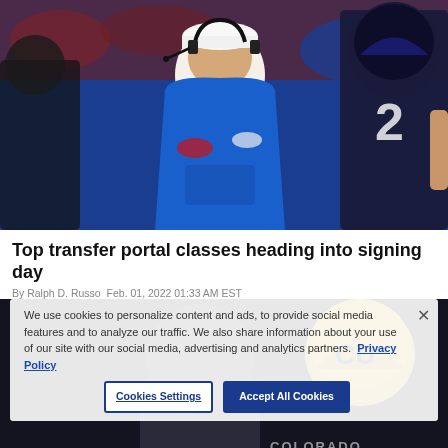[Figure (photo): A football coach in a blue Ole Miss hoodie and white cap with headset on the sideline, with a player wearing jersey #2 in dark uniform visible in the background]
Top transfer portal classes heading into signing day
By Ralph D. Russo Feb. 01, 2022 01:33 AM EST
We use cookies to personalize content and ads, to provide social media features and to analyze our traffic. We also share information about your use of our site with our social media, advertising and analytics partners. Privacy Policy
[Figure (photo): A football coach on sideline at night game with Colorado player in gold helmet visible]
Cookies Settings
Accept All Cookies